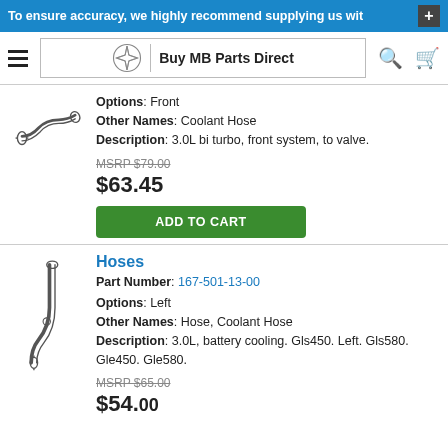To ensure accuracy, we highly recommend supplying us wit
Buy MB Parts Direct
[Figure (illustration): Line drawing of a coolant hose, curved shape with connectors at ends]
Options: Front
Other Names: Coolant Hose
Description: 3.0L bi turbo, front system, to valve.
MSRP $79.00
$63.45
ADD TO CART
Hoses
Part Number: 167-501-13-00
[Figure (illustration): Line drawing of a curved coolant hose with fittings, L-shaped]
Options: Left
Other Names: Hose, Coolant Hose
Description: 3.0L, battery cooling. Gls450. Left. Gls580. Gle450. Gle580.
MSRP $65.00
$54.00